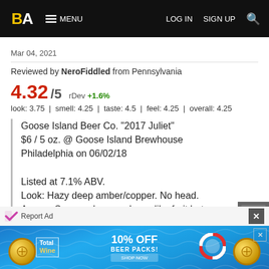BA MENU | LOG IN | SIGN UP | Search
Mar 04, 2021
Reviewed by NeroFiddled from Pennsylvania
4.32/5  rDev +1.6%
look: 3.75  |  smell: 4.25  |  taste: 4.5  |  feel: 4.25  |  overall: 4.25
Goose Island Beer Co. "2017 Juliet"
$6 / 5 oz. @ Goose Island Brewhouse Philadelphia on 06/02/18

Listed at 7.1% ABV.
Look: Hazy deep amber/copper. No head.
Aroma: Some oak, some berry-like fruit but nothing specific, some malt.
Taste: Tart. Light caramelish malt. Oak. Some fruit...
[Figure (infographic): Total Wine advertisement banner with 10% OFF BEER PACKS promotion over aqua/pool water background with decorative coins and life preserver.]
Report Ad